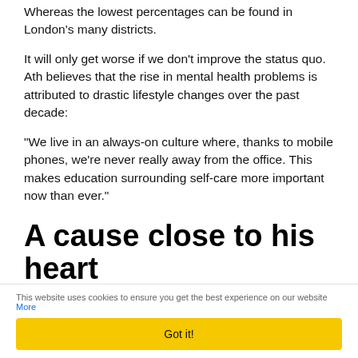Whereas the lowest percentages can be found in London's many districts.
It will only get worse if we don't improve the status quo. Ath believes that the rise in mental health problems is attributed to drastic lifestyle changes over the past decade:
“We live in an always-on culture where, thanks to mobile phones, we’re never really away from the office. This makes education surrounding self-care more important now than ever.”
A cause close to his heart
This website uses cookies to ensure you get the best experience on our website More
Got it!